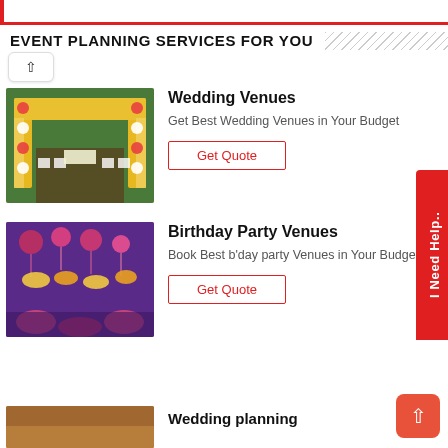EVENT PLANNING SERVICES FOR YOU
[Figure (photo): Wedding venue with yellow floral arch/mandap decorated with flowers]
Wedding Venues
Get Best Wedding Venues in Your Budget
Get Quote
[Figure (photo): Birthday party venue decorated with colorful lights and flowers]
Birthday Party Venues
Book Best b'day party Venues in Your Budget
Get Quote
Wedding planning